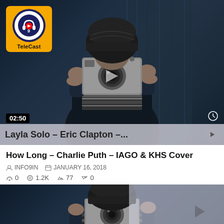[Figure (screenshot): Video thumbnail showing a person in dark clothing and beanie hat holding a camera up to their face, dark blue moody background, TeleCast logo in top-left corner, 02:50 duration badge bottom-left, clock icon bottom-right, next video strip at bottom showing 'Layla Solo – Eric Clapton –...']
How Long – Charlie Puth – IAGO & KHS Cover
INFO9IN   JANUARY 16, 2018
0   1.2K   77   0
[Figure (screenshot): Second video thumbnail showing same person holding camera, partially overlaid with semi-transparent grey panel on right side]